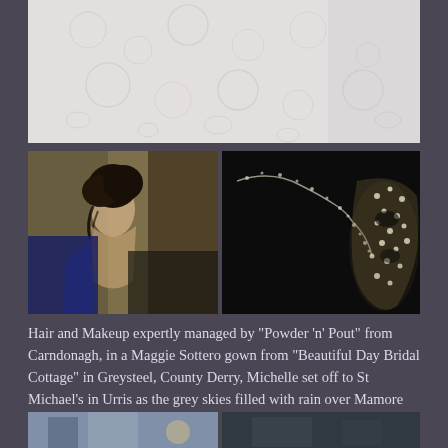[Figure (photo): Close-up photograph of a white lace wedding dress fabric, showing intricate floral lace pattern detail]
[Figure (photo): Photo of a bride with dark hair in an updo, bare back, looking down, warm toned image]
[Figure (photo): Dark background photo showing a delicate crystal/pearl necklace and a heavily jeweled/rhinestone decorated bridal shoe]
Hair and Makeup expertly managed by "Powder 'n' Pout" from Carndonagh, in a Maggie Sottero gown from "Beautiful Day Bridal Cottage" in Greysteel, County Derry, Michelle set off to St Michael's in Urris as the grey skies filled with rain over Mamore Gap.
[Figure (photo): Partial bottom photos showing what appears to be interior/detail shots, partially cropped]